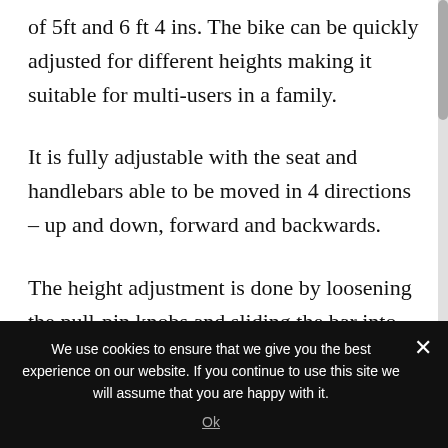of 5ft and 6 ft 4 ins. The bike can be quickly adjusted for different heights making it suitable for multi-users in a family.
It is fully adjustable with the seat and handlebars able to be moved in 4 directions – up and down, forward and backwards.
The height adjustment is done by loosening the pull-pin knobs and sliding the bar into place and tightening the knobs up again. The poles have
We use cookies to ensure that we give you the best experience on our website. If you continue to use this site we will assume that you are happy with it.
Ok